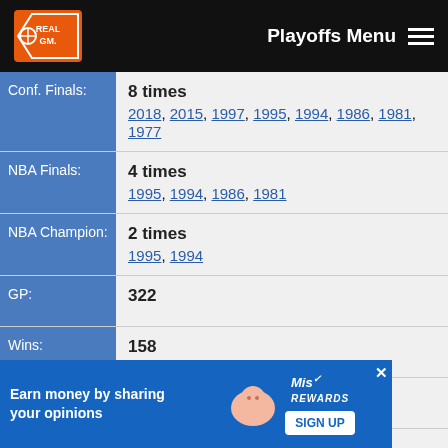Playoffs Menu
| Field | Value |
| --- | --- |
| Conf. Finals: | 8 times — 2018, 2015, 1997, 1995, 1994, 1986, 1981, 1977 |
| NBA Finals: | 4 times — 1995, 1994, 1986, 1981 |
| NBA Champion: | 2 times — 1995, 1994 |
| GP: | 322 |
| Wins: | 158 |
| Losses: | 164 |
| Win %: | .491 |
| Team: | Indiana Pacers |
| Made Playoffs: | 27 times |
| Conf. Series: | 10 times |